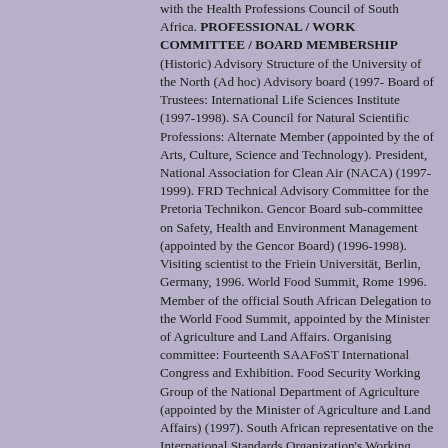with the Health Professions Council of South Africa. PROFESSIONAL / WORK COMMITTEE / BOARD MEMBERSHIP (Historic) Advisory Structure of the University of the North (Ad hoc) Advisory board (1997- Board of Trustees: International Life Sciences Institute (1997-1998). SA Council for Natural Scientific Professions: Alternate Member (appointed by the of Arts, Culture, Science and Technology). President, National Association for Clean Air (NACA) (1997-1999). FRD Technical Advisory Committee for the Pretoria Technikon. Gencor Board sub-committee on Safety, Health and Environment Management (appointed by the Gencor Board) (1996-1998). Visiting scientist to the Friein Universität, Berlin, Germany, 1996. World Food Summit, Rome 1996. Member of the official South African Delegation to the World Food Summit, appointed by the Minister of Agriculture and Land Affairs. Organising committee: Fourteenth SAAFoST International Congress and Exhibition. Food Security Working Group of the National Department of Agriculture (appointed by the Minister of Agriculture and Land Affairs) (1997). South African representative on the International Standards Organization's Working Group on setting international standards for Environmental Performance Evaluation (1993-1994). Invited to serve on the United Nations Environmental Programme (UNEP) Steering Committee for Chemical Risk Assessment, based in Geneva, Switzerland, (1994). Selected Member of the International Union for Nutritional Sciences Committee Chairman of the Transvaal Branch of NACA (1990-1992). Vice Chairman of the Indoor Environment Chapter of NACA (1992-1993). Organizing Committee for the World Clean Air Conference for 1998 in South Africa. Organizing Committee for Indoor Air'91. First South African International Conference on